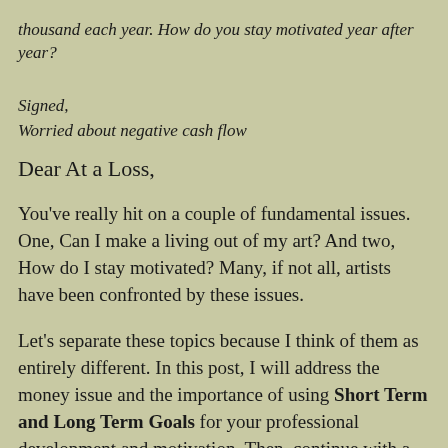thousand each year. How do you stay motivated year after year?
Signed,
Worried about negative cash flow
Dear At a Loss,
You've really hit on a couple of fundamental issues. One, Can I make a living out of my art?  And two, How do I stay motivated?  Many, if not all, artists have been confronted by these issues.
Let's separate these topics because I think of them as entirely different. In this post, I will address the money issue and the importance of using Short Term and Long Term Goals for your professional development and motivation. Then, continue with a few suggestions to stay motivated and inspired about your work.